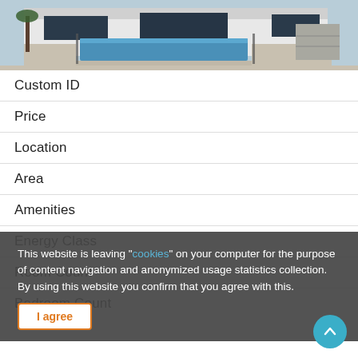[Figure (photo): Exterior photo of a modern house with a swimming pool and paved patio area, glass fencing, palm tree on the left]
Custom ID
Price
Location
Area
Amenities
Energy Class
Room Count
Bedroom Count
This website is leaving "cookies" on your computer for the purpose of content navigation and anonymized usage statistics collection. By using this website you confirm that you agree with this.